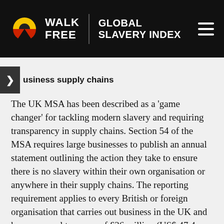Walk Free | Global Slavery Index
business supply chains
The UK MSA has been described as a 'game changer' for tackling modern slavery and requiring transparency in supply chains. Section 54 of the MSA requires large businesses to publish an annual statement outlining the action they take to ensure there is no slavery within their own organisation or anywhere in their supply chains. The reporting requirement applies to every British or foreign organisation that carries out business in the UK and has an annual turnover of £36 million (US$ 47.4 million¹⁰⁵) or more. Failure to disclose a statement could result in injunctive